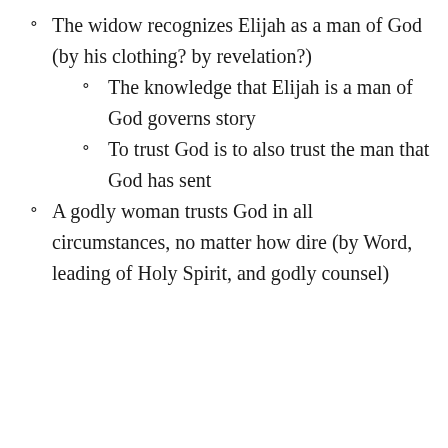The widow recognizes Elijah as a man of God (by his clothing? by revelation?)
The knowledge that Elijah is a man of God governs story
To trust God is to also trust the man that God has sent
A godly woman trusts God in all circumstances, no matter how dire (by Word, leading of Holy Spirit, and godly counsel)